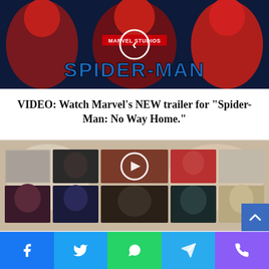[Figure (photo): Spider-Man movie banner with three Spider-Man characters and MARVEL STUDIOS logo, blue metallic Spider-Man title text, back navigation circle button]
VIDEO: Watch Marvel's NEW trailer for "Spider-Man: No Way Home."
[Figure (photo): Gallery grid of entertainment/celebrity photos with a play button circle in the center, arranged in two rows of five thumbnails]
[Figure (other): Social media sharing bar with Facebook, Twitter, WhatsApp, Telegram, and phone buttons at the bottom]